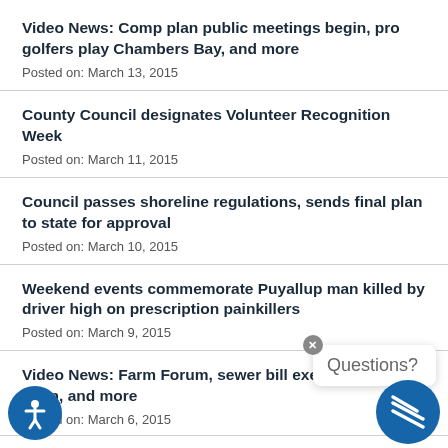Video News: Comp plan public meetings begin, pro golfers play Chambers Bay, and more
Posted on: March 13, 2015
County Council designates Volunteer Recognition Week
Posted on: March 11, 2015
Council passes shoreline regulations, sends final plan to state for approval
Posted on: March 10, 2015
Weekend events commemorate Puyallup man killed by driver high on prescription painkillers
Posted on: March 9, 2015
Video News: Farm Forum, sewer bill exemption, U.S open, and more
Posted on: March 6, 2015